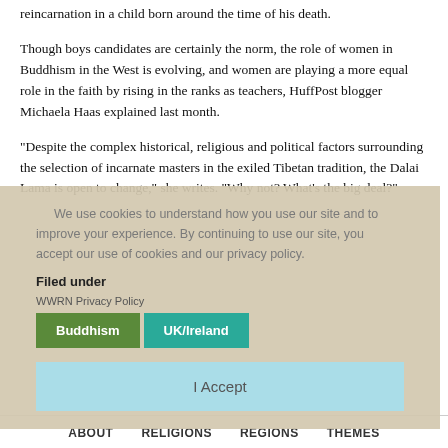reincarnation in a child born around the time of his death.
Though boys candidates are certainly the norm, the role of women in Buddhism in the West is evolving, and women are playing a more equal role in the faith by rising in the ranks as teachers, HuffPost blogger Michaela Haas explained last month.
"Despite the complex historical, religious and political factors surrounding the selection of incarnate masters in the exiled Tibetan tradition, the Dalai Lama is open to change," she writes. "Why not? What's the big deal?"
We use cookies to understand how you use our site and to improve your experience. By continuing to use our site, you accept our use of cookies and our privacy policy.
Filed under
WWRN Privacy Policy
Buddhism
UK/Ireland
I Accept
ABOUT   RELIGIONS   REGIONS   THEMES